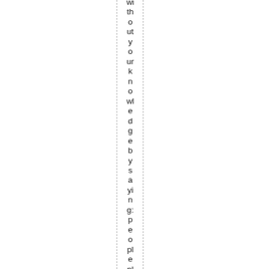without your knowledge by saying: people place a c...